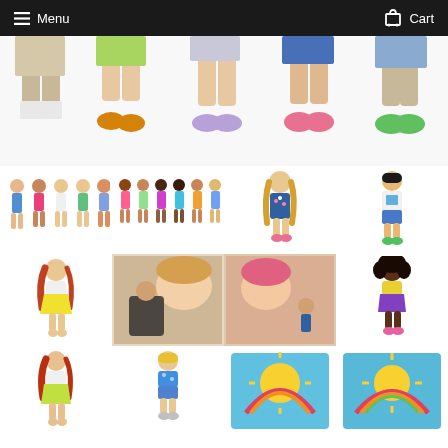Menu  Cart
[Figure (photo): Close-up photo of five Barbie Chelsea dolls' legs and feet shown from waist down, wearing various colorful outfits and shoes on white background]
[Figure (photo): Group of five Barbie Chelsea dolls in floral/summer outfits standing together]
[Figure (photo): Group of six Barbie Chelsea dolls in colorful outfits standing together]
[Figure (photo): Single Barbie Chelsea girl doll with long blonde hair in denim floral dress with pink shoes]
[Figure (photo): Single Barbie Chelsea boy doll with dark hair in white graphic tee and blue shorts with green shoes]
[Figure (photo): Single Barbie Chelsea girl doll with red hair in yellow/white skirt outfit]
[Figure (photo): Real girl child playing with Barbie Chelsea dolls on floor]
[Figure (photo): Real girl child with Barbie Chelsea dolls]
[Figure (photo): Single Barbie Chelsea Black doll with curly hair in yellow/purple outfit]
[Figure (photo): Single Barbie Chelsea girl doll with red hair in white top]
[Figure (photo): Single Barbie Chelsea boy doll with blonde hair in blue floral outfit]
[Figure (photo): Barbie Chelsea product packaging/box with colorful design]
[Figure (photo): Barbie Chelsea product packaging/box with colorful design]